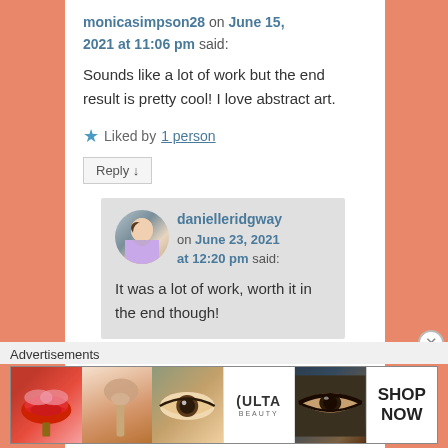monicasimpson28 on June 15, 2021 at 11:06 pm said:
Sounds like a lot of work but the end result is pretty cool! I love abstract art.
Liked by 1 person
Reply ↓
danielleridgway on June 23, 2021 at 12:20 pm said:
It was a lot of work, worth it in the end though!
Advertisements
[Figure (photo): Ulta Beauty advertisement banner showing makeup/cosmetics photos including lips with lipstick, makeup brush, eye close-up, Ulta Beauty logo, eyes with makeup, and SHOP NOW text]